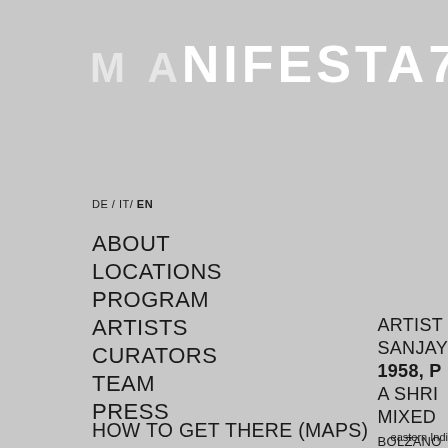MANIFESTA 7
DE / IT / EN
ABOUT
LOCATIONS
PROGRAM
ARTISTS
CURATORS
TEAM
PRESS
HOW TO GET THERE (MAPS)
TOURISTIC INFORMATION
ART MEDIATION
PARALLEL EVENTS
BOLZANO/BOZEN
TRENTO. PARALLEL EVENTS
ARTIST:
SANJAY
1958, P
A SHRI
MIXED
BOLZANO
eastern Indi